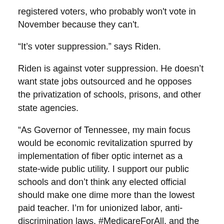registered voters, who probably won't vote in November because they can't.
“It’s voter suppression.” says Riden.
Riden is against voter suppression. He doesn’t want state jobs outsourced and he opposes the privatization of schools, prisons, and other state agencies.
“As Governor of Tennessee, my main focus would be economic revitalization spurred by implementation of fiber optic internet as a state-wide public utility. I support our public schools and don’t think any elected official should make one dime more than the lowest paid teacher. I’m for unionized labor, anti-discrimination laws, #MedicareForAll, and the legalization of Cannabis. I’d like to build high speed rail connecting Memphis, Nashville, Knoxville, Chattanooga and Bristol and regional transit systems,” he said.